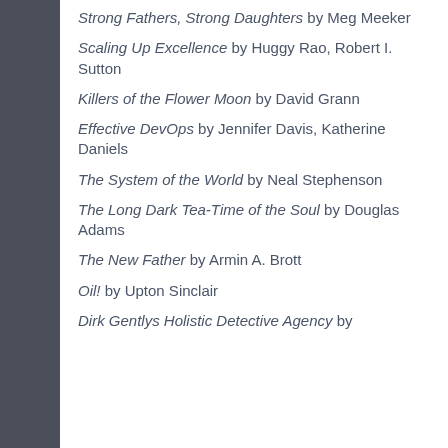Strong Fathers, Strong Daughters by Meg Meeker
Scaling Up Excellence by Huggy Rao, Robert I. Sutton
Killers of the Flower Moon by David Grann
Effective DevOps by Jennifer Davis, Katherine Daniels
The System of the World by Neal Stephenson
The Long Dark Tea-Time of the Soul by Douglas Adams
The New Father by Armin A. Brott
Oil! by Upton Sinclair
Dirk Gentlys Holistic Detective Agency by